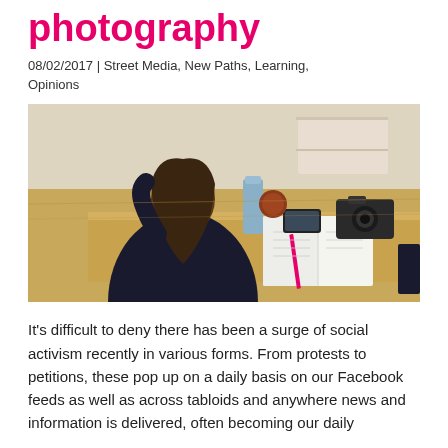photography
08/02/2017 | Street Media, New Paths, Learning, Opinions
[Figure (photo): A person sitting at a wooden desk viewed from behind, with an open notebook, a camera, a smartphone, and a water bottle on the desk. The person has long brown hair and is wearing a dark top. The room has wooden flooring visible in the background.]
It's difficult to deny there has been a surge of social activism recently in various forms. From protests to petitions, these pop up on a daily basis on our Facebook feeds as well as across tabloids and anywhere news and information is delivered, often becoming our daily